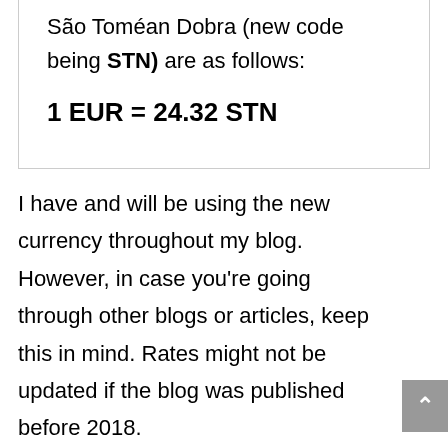São Toméan Dobra (new code being STN) are as follows:
1 EUR = 24.32 STN
I have and will be using the new currency throughout my blog. However, in case you're going through other blogs or articles, keep this in mind. Rates might not be updated if the blog was published before 2018.